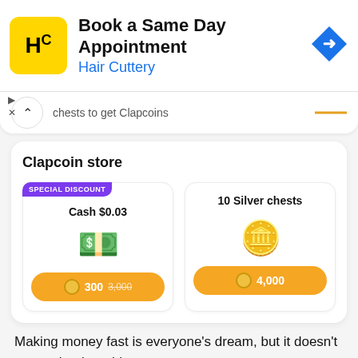[Figure (screenshot): Hair Cuttery ad banner: yellow square logo with HC, title 'Book a Same Day Appointment', subtitle 'Hair Cuttery' in blue, blue diamond navigation icon on right]
chests to get Clapcoins
Clapcoin store
[Figure (screenshot): Two store cards side by side. Left card has SPECIAL DISCOUNT badge, title 'Cash $0.03', cash emoji image, orange button showing '300 3,000' coins (3,000 crossed out). Right card has title '10 Silver chests', treasure chest emoji image, orange button showing '4,000' coins.]
Making money fast is everyone's dream, but it doesn't get easier than this.
Since the ways to make cash in the app is simple, there